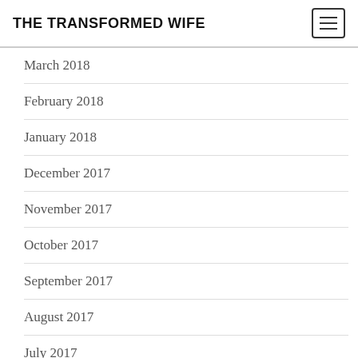THE TRANSFORMED WIFE
March 2018
February 2018
January 2018
December 2017
November 2017
October 2017
September 2017
August 2017
July 2017
June 2017